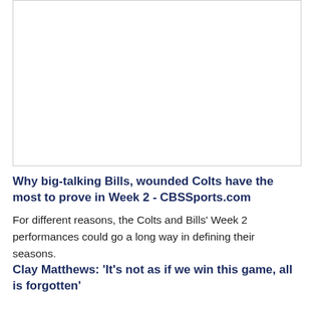[Figure (other): Blank white image placeholder with gray border]
Why big-talking Bills, wounded Colts have the most to prove in Week 2 - CBSSports.com
For different reasons, the Colts and Bills' Week 2 performances could go a long way in defining their seasons.
Clay Matthews: 'It's not as if we win this game, all is forgotten'